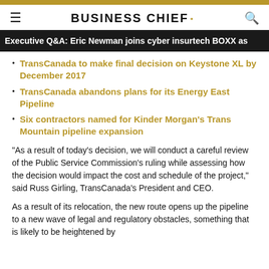BUSINESS CHIEF
Executive Q&A: Eric Newman joins cyber insurtech BOXX as
TransCanada to make final decision on Keystone XL by December 2017
TransCanada abandons plans for its Energy East Pipeline
Six contractors named for Kinder Morgan's Trans Mountain pipeline expansion
"As a result of today's decision, we will conduct a careful review of the Public Service Commission's ruling while assessing how the decision would impact the cost and schedule of the project," said Russ Girling, TransCanada's President and CEO.
As a result of its relocation, the new route opens up the pipeline to a new wave of legal and regulatory obstacles, something that is likely to be heightened by